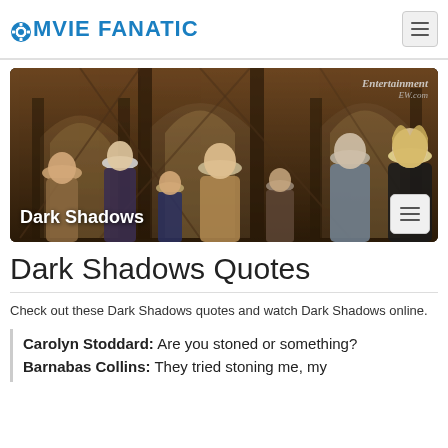MOVIE FANATIC
[Figure (photo): Dark Shadows movie cast photo in gothic cathedral interior with Entertainment Weekly watermark. Cast members standing in a grand hall with arched ceilings. Text overlay: 'Dark Shadows']
Dark Shadows Quotes
Check out these Dark Shadows quotes and watch Dark Shadows online.
Carolyn Stoddard: Are you stoned or something?
Barnabas Collins: They tried stoning me, my